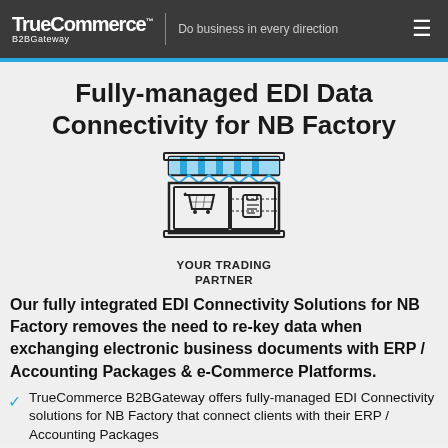TrueCommerce B2BGateway | Do business in every direction
Fully-managed EDI Data Connectivity for NB Factory
[Figure (illustration): Icon of a retail store/shop front with a shopping cart and a tag icon, labeled YOUR TRADING PARTNER]
Our fully integrated EDI Connectivity Solutions for NB Factory removes the need to re-key data when exchanging electronic business documents with ERP / Accounting Packages & e-Commerce Platforms.
TrueCommerce B2BGateway offers fully-managed EDI Connectivity solutions for NB Factory that connect clients with their ERP / Accounting Packages